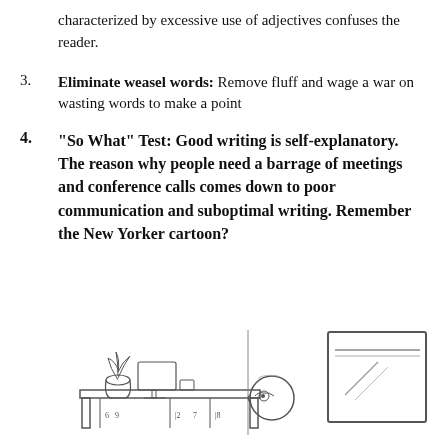characterized by excessive use of adjectives confuses the reader.
3. Eliminate weasel words: Remove fluff and wage a war on wasting words to make a point
4. “So What” Test: Good writing is self-explanatory. The reason why people need a barrage of meetings and conference calls comes down to poor communication and suboptimal writing. Remember the New Yorker cartoon?
[Figure (illustration): A sketch illustration showing a person sitting at a desk with a plant and monitor on top, viewed from the side, next to a large blank screen/whiteboard on the right side.]